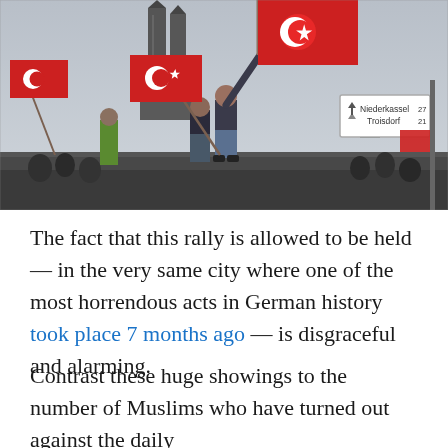[Figure (photo): People standing on a structure waving large Turkish flags (red with white crescent and star) in front of Cologne Cathedral. A street sign pointing to Niederkassel and Troisdorf is visible. A crowd with more Turkish flags is visible below.]
The fact that this rally is allowed to be held — in the very same city where one of the most horrendous acts in German history took place 7 months ago — is disgraceful and alarming.
Contrast these huge showings to the number of Muslims who have turned out against the daily Islamist terrorism. We are owed much. 30 Muslims...